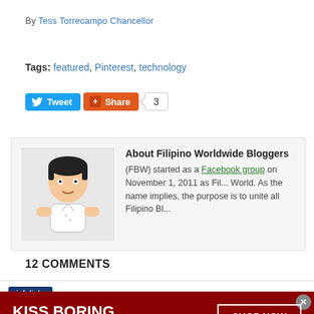By Tess Torrecampo Chancellor
Tags: featured, Pinterest, technology
[Figure (screenshot): Social sharing buttons: Tweet button (blue), Share button (orange/red), and a count box showing 3]
About Filipino Worldwide Bloggers
(FBW) started as a Facebook group on November 1, 2011 as Filipino Bloggers World. As the name implies, the purpose is to unite all Filipino Bl...
12 COMMENTS
[Figure (screenshot): Infolinks advertisement bar with 'infolinks' logo tag and Macy's 'KISS BORING LIPS GOODBYE - SHOP NOW' banner ad]